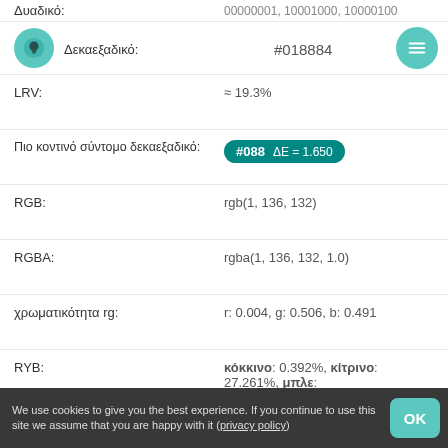Δυαδικό: 00000001, 10001000, 10000100
Δεκαεξαδικό: #018884
LRV: ≈ 19.3%
Πιο κοντινό σύντομο δεκαεξαδικό: #088 ΔΕ = 1.650
RGB: rgb(1, 136, 132)
RGBA: rgba(1, 136, 132, 1.0)
χρωματικότητα rg: r: 0.004, g: 0.506, b: 0.491
RYB: κόκκινο: 0.392%, κίτρινο: 27.261%, μπλε: 53.333%
Android / android.graphics.Color: -16676732 / 0xff018884
HSL: hsl(178, 99%, 27%)
HSLA: hsla(178, 99%, 27%, 1.0)
We use cookies to give you the best experience. If you continue to use this site we assume that you are happy with it (privacy policy)